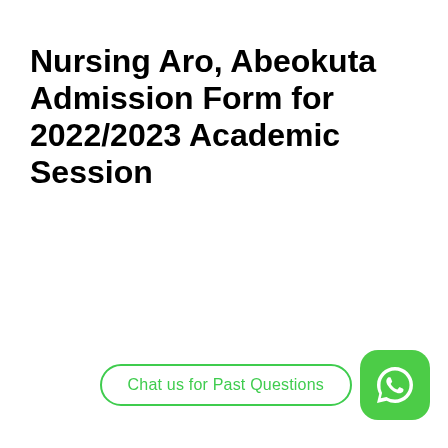Nursing Aro, Abeokuta Admission Form for 2022/2023 Academic Session
[Figure (other): WhatsApp chat button with green outlined pill-shaped button reading 'Chat us for Past Questions' and a green rounded-square WhatsApp icon to the right]